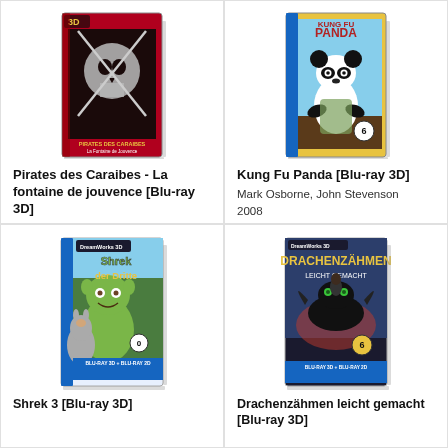[Figure (photo): Blu-ray 3D cover of Pirates des Caraibes - La fontaine de jouvence]
Pirates des Caraibes - La fontaine de jouvence [Blu-ray 3D]
Rob Marshall
2010
Blu-ray 3D
Disponible
[Figure (photo): Blu-ray 3D cover of Kung Fu Panda]
Kung Fu Panda [Blu-ray 3D]
Mark Osborne, John Stevenson
2008
Blu-ray 3D
Disponible
[Figure (photo): Blu-ray 3D cover of Shrek der Dritte]
Shrek 3 [Blu-ray 3D]
[Figure (photo): Blu-ray 3D cover of Drachenzahmen leicht gemacht]
Drachenzähmen leicht gemacht [Blu-ray 3D]